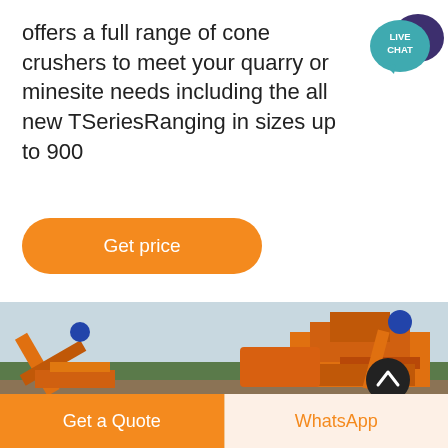offers a full range of cone crushers to meet your quarry or minesite needs including the all new TSeriesRanging in sizes up to 900
[Figure (illustration): Live Chat speech bubble icon with teal background and white text 'LIVE CHAT', with a dark purple decorative speech bubble behind it]
Get price
[Figure (photo): Industrial mining/quarrying machinery in orange with conveyor belts and processing equipment photographed outdoors with trees in background]
Get a Quote
WhatsApp